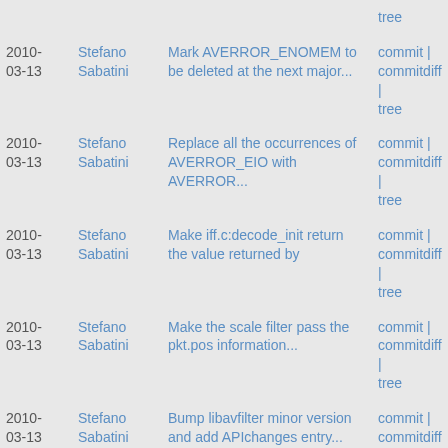| Date | Author | Message | Links |
| --- | --- | --- | --- |
|  |  | tree |  |
| 2010-03-13 | Stefano Sabatini | Mark AVERROR_ENOMEM to be deleted at the next major... | commit | commitdiff | tree |
| 2010-03-13 | Stefano Sabatini | Replace all the occurrences of AVERROR_EIO with AVERROR... | commit | commitdiff | tree |
| 2010-03-13 | Stefano Sabatini | Make iff.c:decode_init return the value returned by | commit | commitdiff | tree |
| 2010-03-13 | Stefano Sabatini | Make the scale filter pass the pkt.pos information... | commit | commitdiff | tree |
| 2010-03-13 | Stefano Sabatini | Bump libavfilter minor version and add APIchanges entry... | commit | commitdiff | tree |
| 2010-03-13 | Stefano Sabatini | Make ffplay pass the packet.pos information to the... | commit | commitdiff | tree |
| 2010-03-13 | Stefano Sabatini | Add AVFilterPicRef.pos field and make libavfilter propagate... | commit | commitdiff |